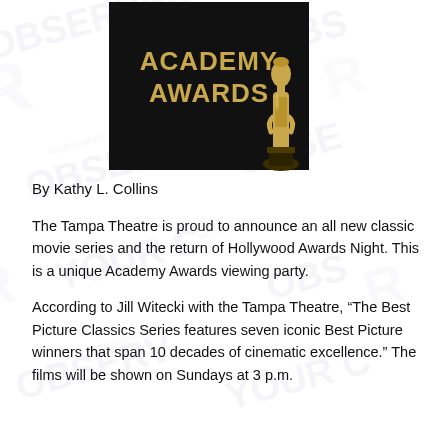[Figure (illustration): Academy Awards logo on black background with gold Oscar statuette figure on the right side. Gold text reads 'ACADEMY AWARDS'. Watermark of 'OBSERVER YOUR COMMUNITY NEWSPAPER' repeats across the full page background.]
By Kathy L. Collins
The Tampa Theatre is proud to announce an all new classic movie series and the return of Hollywood Awards Night. This is a unique Academy Awards viewing party.
According to Jill Witecki with the Tampa Theatre, “The Best Picture Classics Series features seven iconic Best Picture winners that span 10 decades of cinematic excellence.” The films will be shown on Sundays at 3 p.m.